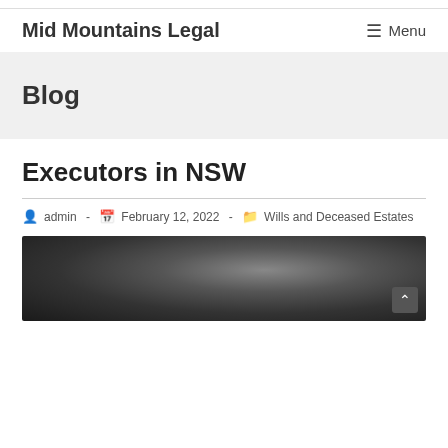Mid Mountains Legal | Menu
Blog
Executors in NSW
admin · February 12, 2022 · Wills and Deceased Estates
[Figure (photo): Close-up photo of a person's face in dim lighting]